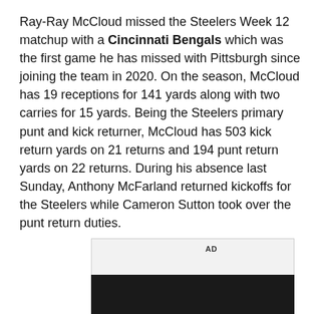Ray-Ray McCloud missed the Steelers Week 12 matchup with a Cincinnati Bengals which was the first game he has missed with Pittsburgh since joining the team in 2020. On the season, McCloud has 19 receptions for 141 yards along with two carries for 15 yards. Being the Steelers primary punt and kick returner, McCloud has 503 kick return yards on 21 returns and 194 punt return yards on 22 returns. During his absence last Sunday, Anthony McFarland returned kickoffs for the Steelers while Cameron Sutton took over the punt return duties.
[Figure (other): Advertisement placeholder box with 'AD' label and a dark photo below it]